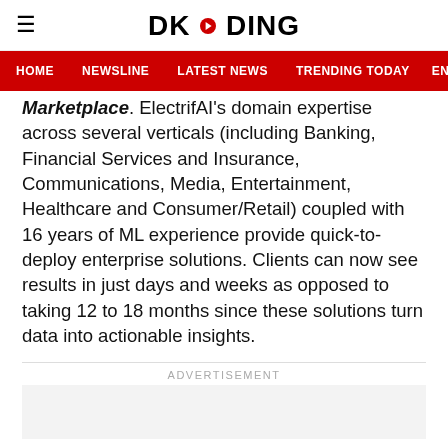DKODING
HOME  NEWSLINE  LATEST NEWS  TRENDING TODAY  ENT
Marketplace. ElectrifAI's domain expertise across several verticals (including Banking, Financial Services and Insurance, Communications, Media, Entertainment, Healthcare and Consumer/Retail) coupled with 16 years of ML experience provide quick-to-deploy enterprise solutions. Clients can now see results in just days and weeks as opposed to taking 12 to 18 months since these solutions turn data into actionable insights.
ADVERTISEMENT